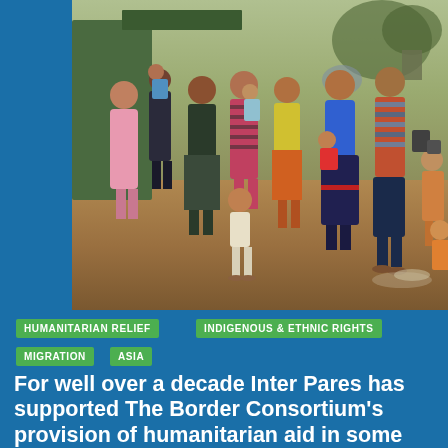[Figure (photo): A group of displaced people including women, men, and children standing in a dirt area in what appears to be a refugee or displaced persons camp. A shirtless young boy stands in the foreground. Adults and children in the background wearing colorful clothing. Rough shelters visible behind them.]
HUMANITARIAN RELIEF
INDIGENOUS & ETHNIC RIGHTS
MIGRATION
ASIA
For well over a decade Inter Pares has supported The Border Consortium's provision of humanitarian aid in some